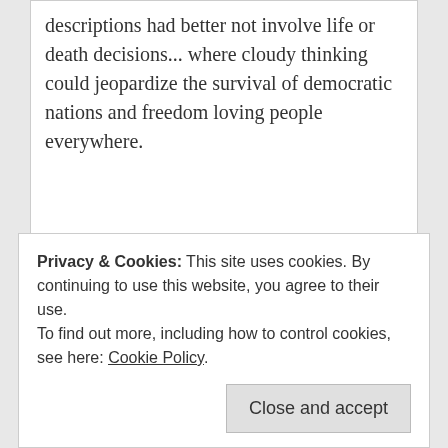descriptions had better not involve life or death decisions... where cloudy thinking could jeopardize the survival of democratic nations and freedom loving people everywhere.
CommonSenseTom 10:04 am on August 18, 2016
Tags: Donald Trump ( 81 ), Donald Trump reboot, halitosis, Larry King, politcal halitosis, political reboot, political stench ( 3 ), Republican Red,
Privacy & Cookies: This site uses cookies. By continuing to use this website, you agree to their use. To find out more, including how to control cookies, see here: Cookie Policy